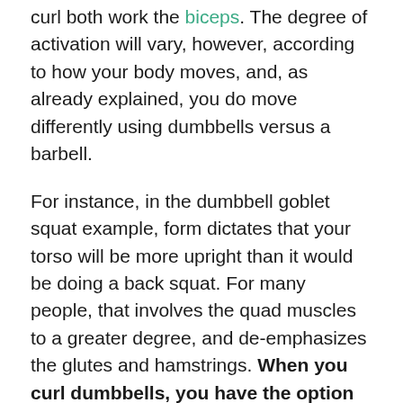curl both work the biceps. The degree of activation will vary, however, according to how your body moves, and, as already explained, you do move differently using dumbbells versus a barbell.
For instance, in the dumbbell goblet squat example, form dictates that your torso will be more upright than it would be doing a back squat. For many people, that involves the quad muscles to a greater degree, and de-emphasizes the glutes and hamstrings. When you curl dumbbells, you have the option to supinate (twist) your wrists outward as you bring the weight up, which you can't do curling a straight bar. That can give you greater activation of the biceps and forearm muscles.
Apart from different movement paths and ranges of motion, dumbbell exercises differ from barbell moves in one major way: they utilize more "stabilizer"